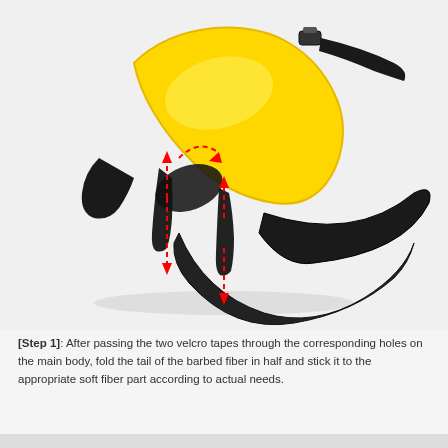[Figure (illustration): A yellow knee/shin guard protective device with black velcro straps passing through corresponding holes on the main body. Red dashed arrows indicate the direction of pulling the velcro tape tails through the holes and folding them.]
[Step 1]: After passing the two velcro tapes through the corresponding holes on the main body, fold the tail of the barbed fiber in half and stick it to the appropriate soft fiber part according to actual needs.